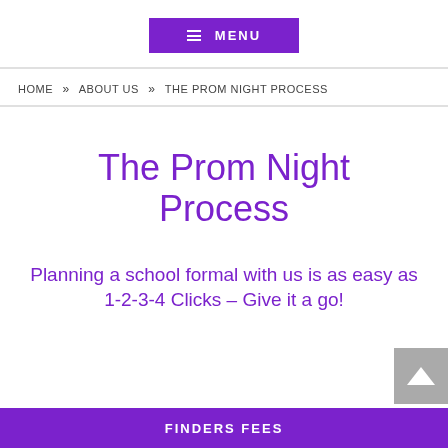≡ MENU
HOME » ABOUT US » THE PROM NIGHT PROCESS
The Prom Night Process
Planning a school formal with us is as easy as 1-2-3-4 Clicks – Give it a go!
FINDERS FEES